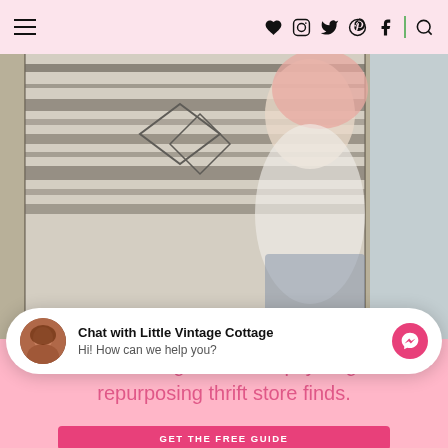Chat with Little Vintage Cottage — navigation with social icons
[Figure (photo): Person holding or standing near a patterned black and white rug/tapestry, with pink/blonde hair, photographed from the side in a bright room]
Learn how to get started upcycling and repurposing thrift store finds.
GET THE FREE GUIDE
Chat with Little Vintage Cottage
Hi! How can we help you?